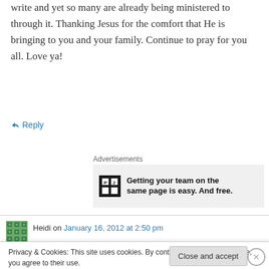write and yet so many are already being ministered to through it. Thanking Jesus for the comfort that He is bringing to you and your family. Continue to pray for you all. Love ya!
↳ Reply
Advertisements
[Figure (other): P2 advertisement banner: Getting your team on the same page is easy. And free.]
Heidi on January 16, 2012 at 2:50 pm
Privacy & Cookies: This site uses cookies. By continuing to use this website, you agree to their use.
To find out more, including how to control cookies, see here: Cookie Policy
Close and accept